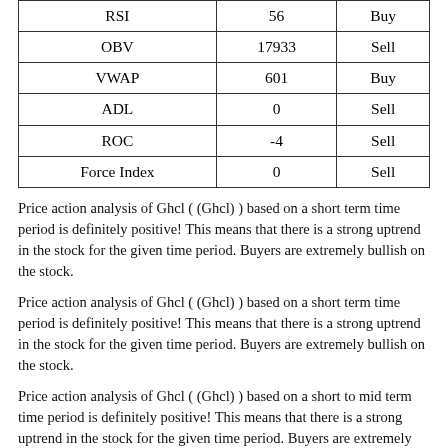|  |  |  |
| --- | --- | --- |
| RSI | 56 | Buy |
| OBV | 17933 | Sell |
| VWAP | 601 | Buy |
| ADL | 0 | Sell |
| ROC | -4 | Sell |
| Force Index | 0 | Sell |
Price action analysis of Ghcl ( (Ghcl) ) based on a short term time period is definitely positive! This means that there is a strong uptrend in the stock for the given time period. Buyers are extremely bullish on the stock.
Price action analysis of Ghcl ( (Ghcl) ) based on a short term time period is definitely positive! This means that there is a strong uptrend in the stock for the given time period. Buyers are extremely bullish on the stock.
Price action analysis of Ghcl ( (Ghcl) ) based on a short to mid term time period is definitely positive! This means that there is a strong uptrend in the stock for the given time period. Buyers are extremely bullish on the stock.
Price action analysis of Ghcl ( (Ghcl) ) based on a mid to longer term time period is definitely positive! This means that